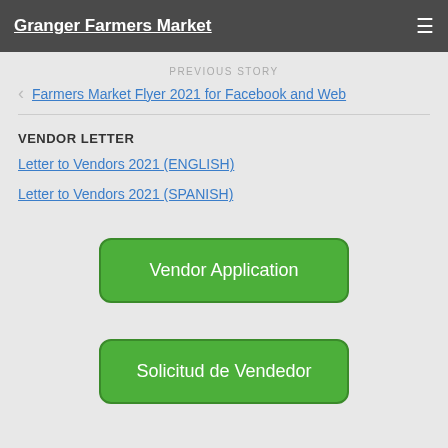Granger Farmers Market
PREVIOUS STORY
< Farmers Market Flyer 2021 for Facebook and Web
VENDOR LETTER
Letter to Vendors 2021 (ENGLISH)
Letter to Vendors 2021 (SPANISH)
Vendor Application
Solicitud de Vendedor